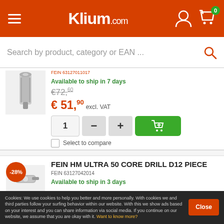Klium.com
Search by product, category or EAN ...
FEIN 63127011017
Available to ship in 7 days
€72,60 € 51,90 excl. VAT
1 - + [cart]
Select to compare
FEIN HM ULTRA 50 CORE DRILL D12 PIECE
FEIN 63127042014
Available to ship in 3 days
Cookies: We use cookies to help you better and more personally. With cookies we and third parties follow your surfing behavior within our website. With this we show ads based on your interest and you can share information via social media. If you continue on our website, we assume that you are okay with it. Want to know more?